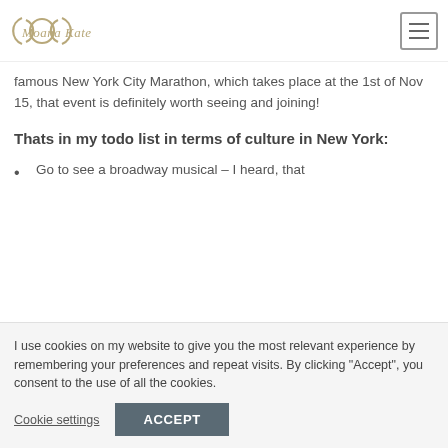MoanaKate [logo] [menu button]
famous New York City Marathon, which takes place at the 1st of Nov 15, that event is definitely worth seeing and joining!
Thats in my todo list in terms of culture in New York:
Go to see a broadway musical – I heard, that
I use cookies on my website to give you the most relevant experience by remembering your preferences and repeat visits. By clicking “Accept”, you consent to the use of all the cookies.